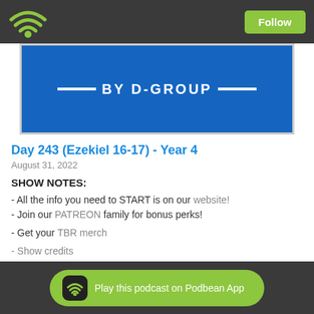Follow
[Figure (illustration): Podcast banner with blue background and text BY D-GROUP with white dashes on either side]
Day 243 (Ezekiel 16-17) - Year 4
August 31, 2022
SHOW NOTES:
- All the info you need to START is on our website!
- Join our PATREON family for bonus perks!
- Get your TBR merch
- Show credits
FROM TODAY'S PODCAST:
- Genesis 19:4-9
- Jude 1:7
- 2 Kings 2
Play this podcast on Podbean App